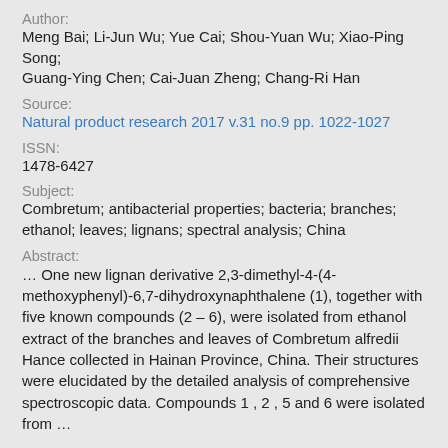Author:
Meng Bai; Li-Jun Wu; Yue Cai; Shou-Yuan Wu; Xiao-Ping Song; Guang-Ying Chen; Cai-Juan Zheng; Chang-Ri Han
Source:
Natural product research 2017 v.31 no.9 pp. 1022-1027
ISSN:
1478-6427
Subject:
Combretum; antibacterial properties; bacteria; branches; ethanol; leaves; lignans; spectral analysis; China
Abstract:
… One new lignan derivative 2,3-dimethyl-4-(4-methoxyphenyl)-6,7-dihydroxynaphthalene (1), together with five known compounds (2 – 6), were isolated from ethanol extract of the branches and leaves of Combretum alfredii Hance collected in Hainan Province, China. Their structures were elucidated by the detailed analysis of comprehensive spectroscopic data. Compounds 1 , 2 , 5 and 6 were isolated from …